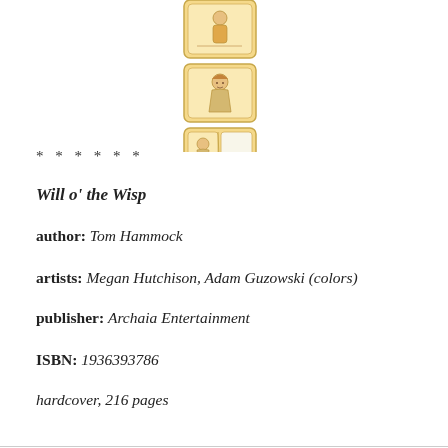[Figure (illustration): Two stacked illustrated panels showing a young girl character, drawn in a warm golden/sepia style, resembling small book cover thumbnails]
* * * * * *
Will o' the Wisp
author: Tom Hammock
artists: Megan Hutchison, Adam Guzowski (colors)
publisher: Archaia Entertainment
ISBN: 1936393786
hardcover, 216 pages